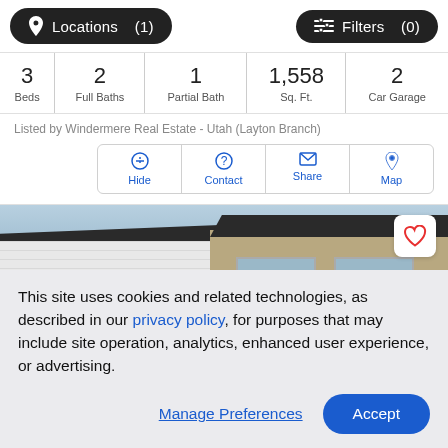Locations (1)   Filters (0)
| Beds | Full Baths | Partial Bath | Sq. Ft. | Car Garage |
| --- | --- | --- | --- | --- |
| 3 | 2 | 1 | 1,558 | 2 |
Listed by Windermere Real Estate - Utah (Layton Branch)
Hide  Contact  Share  Map
[Figure (photo): Exterior photo of a residential house with white siding, beige/tan accents, dark roof, multiple windows, and a blue sky background]
This site uses cookies and related technologies, as described in our privacy policy, for purposes that may include site operation, analytics, enhanced user experience, or advertising.
Manage Preferences   Accept